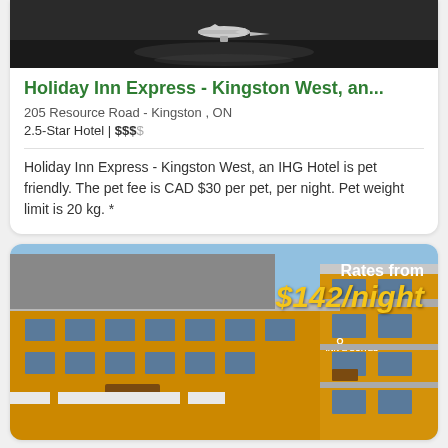[Figure (photo): Top portion of a hotel exterior photo, dark/grey tones, partially visible]
Holiday Inn Express - Kingston West, an...
205 Resource Road - Kingston , ON
2.5-Star Hotel | $$$$
Holiday Inn Express - Kingston West, an IHG Hotel is pet friendly. The pet fee is CAD $30 per pet, per night. Pet weight limit is 20 kg. *
[Figure (photo): Quality Inn & Suites hotel building exterior, orange and grey facade, with overlay text 'Rates from $142/night']